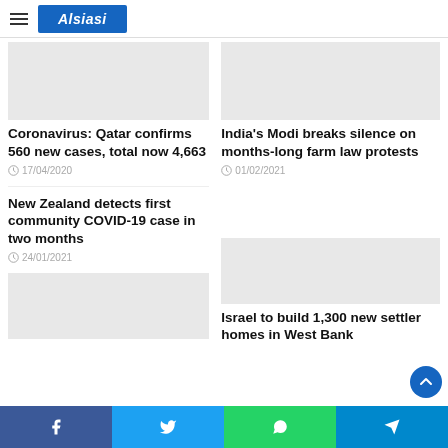Alsiasi
Coronavirus: Qatar confirms 560 new cases, total now 4,663
17/04/2020
India's Modi breaks silence on months-long farm law protests
01/02/2021
New Zealand detects first community COVID-19 case in two months
24/01/2021
Israel to build 1,300 new settler homes in West Bank